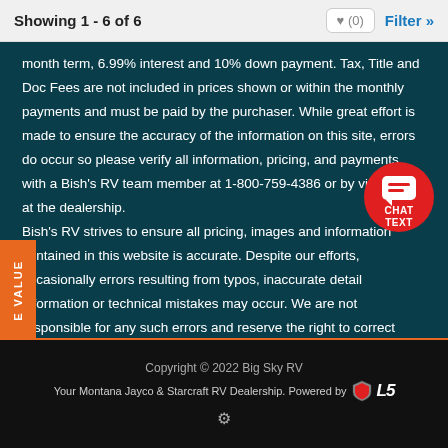Showing 1 - 6 of 6
month term, 6.99% interest and 10% down payment. Tax, Title and Doc Fees are not included in prices shown or within the monthly payments and must be paid by the purchaser. While great effort is made to ensure the accuracy of the information on this site, errors do occur so please verify all information, pricing, and payments with a Bish's RV team member at 1-800-759-4386 or by visiting us at the dealership.
Bish's RV strives to ensure all pricing, images and information contained in this website is accurate. Despite our efforts, occasionally errors resulting from typos, inaccurate detail information or technical mistakes may occur. We are not responsible for any such errors and reserve the right to correct them at any time. Stock photos may not represent actual unit in stock. See dealer for details.
[Figure (other): Red circular chat/text button with speech bubble icon and labels CHAT TEXT]
[Figure (other): Orange vertical sidebar tab with rotated text E VALUE]
Copyright © 2022 Big Sky RV
Your Montana Jayco & Starcraft RV Dealership. Powered by [LS logo]